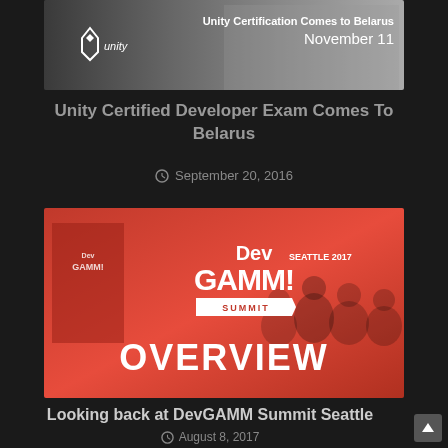[Figure (screenshot): Unity Certification Comes to Belarus - November 11 banner image with Unity logo]
Unity Certified Developer Exam Comes To Belarus
September 20, 2016
[Figure (screenshot): DevGAMM Summit Seattle 2017 OVERVIEW promotional image with red background and silhouettes of people]
Looking back at DevGAMM Summit Seattle
August 8, 2017